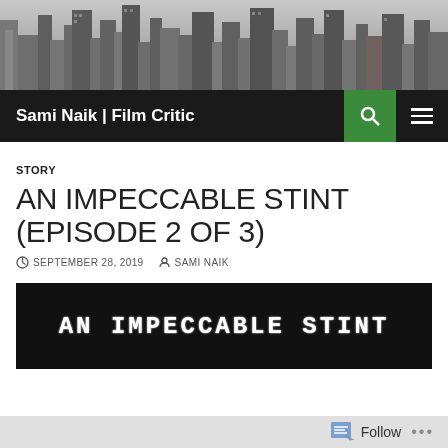[Figure (photo): Black and white aerial photo of a city skyline with tall skyscrapers]
Sami Naik | Film Critic
STORY
AN IMPECCABLE STINT (EPISODE 2 OF 3)
SEPTEMBER 28, 2019  SAMI NAIK
[Figure (photo): Black banner image with white text reading AN IMPECCABLE STINT]
Follow